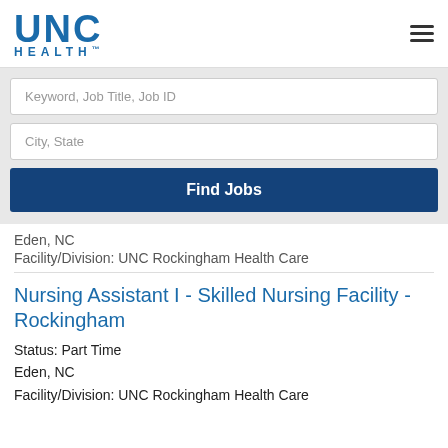[Figure (logo): UNC Health logo with blue text]
Keyword, Job Title, Job ID
City, State
Find Jobs
Eden, NC
Facility/Division: UNC Rockingham Health Care
Nursing Assistant I - Skilled Nursing Facility - Rockingham
Status: Part Time
Eden, NC
Facility/Division: UNC Rockingham Health Care